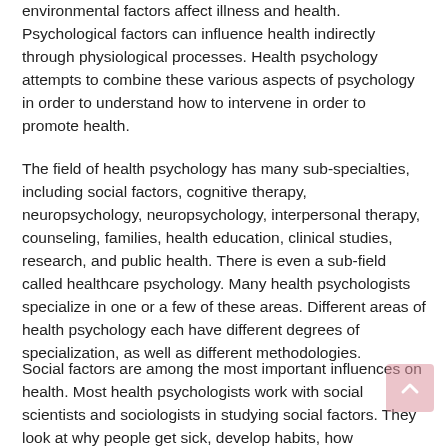environmental factors affect illness and health. Psychological factors can influence health indirectly through physiological processes. Health psychology attempts to combine these various aspects of psychology in order to understand how to intervene in order to promote health.
The field of health psychology has many sub-specialties, including social factors, cognitive therapy, neuropsychology, neuropsychology, interpersonal therapy, counseling, families, health education, clinical studies, research, and public health. There is even a sub-field called healthcare psychology. Many health psychologists specialize in one or a few of these areas. Different areas of health psychology each have different degrees of specialization, as well as different methodologies.
Social factors are among the most important influences on health. Most health psychologists work with social scientists and sociologists in studying social factors. They look at why people get sick, develop habits, how they behave and how they deal with emotions. Social